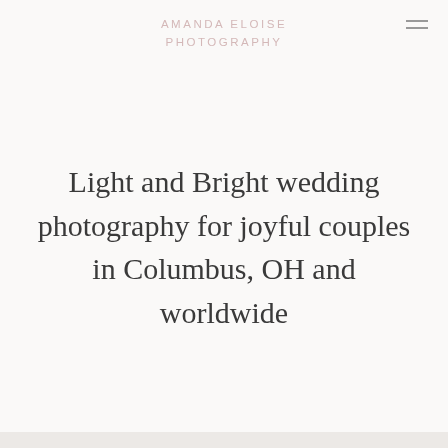AMANDA ELOISE PHOTOGRAPHY
Light and Bright wedding photography for joyful couples in Columbus, OH and worldwide